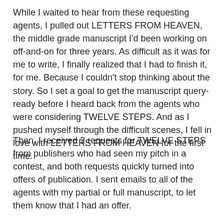While I waited to hear from these requesting agents, I pulled out LETTERS FROM HEAVEN, the middle grade manuscript I'd been working on off-and-on for three years. As difficult as it was for me to write, I finally realized that I had to finish it, for me. Because I couldn't stop thinking about the story. So I set a goal to get the manuscript query-ready before I heard back from the agents who were considering TWELVE STEPS. And as I pushed myself through the difficult scenes, I fell in love with LETTERS FROM HEAVEN for the first time.
Then, I received 2 requests for TWELVE STEPS from publishers who had seen my pitch in a contest, and both requests quickly turned into offers of publication. I sent emails to all of the agents with my partial or full manuscript, to let them know that I had an offer.